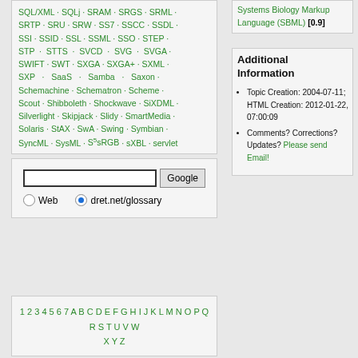SQL/XML · SQLj · SRAM · SRGS · SRML · SRTP · SRU · SRW · SS7 · SSCC · SSDL · SSI · SSID · SSL · SSML · SSO · STEP · STP · STTS · SVCD · SVG · SVGA · SWIFT · SWT · SXGA · SXGA+ · SXML · SXP · SaaS · Samba · Saxon · Schemachine · Schematron · Scheme · Scout · Shibboleth · Shockwave · SiXDML · Silverlight · Skipjack · Slidy · SmartMedia · Solaris · StAX · SwA · Swing · Symbian · SyncML · SysML · S5sRGB · sXBL · servlet
[Figure (other): Google search box with text input field, Google button, and radio buttons for Web and dret.net/glossary]
Systems Biology Markup Language (SBML) [0.9]
Additional Information
Topic Creation: 2004-07-11; HTML Creation: 2012-01-22, 07:00:09
Comments? Corrections? Updates? Please send Email!
1 2 3 4 5 6 7 A B C D E F G H I J K L M N O P Q R S T U V W X Y Z